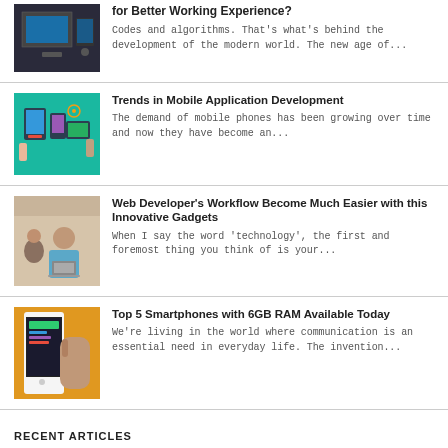[Figure (photo): Screenshot of computer monitors/workspace for Better Working Experience article]
for Better Working Experience?
Codes and algorithms. That's what's behind the development of the modern world. The new age of…
[Figure (illustration): Colorful illustration of mobile app development with hands holding devices]
Trends in Mobile Application Development
The demand of mobile phones has been growing over time and now they have become an…
[Figure (photo): Photo of a web developer smiling at a workspace]
Web Developer's Workflow Become Much Easier with this Innovative Gadgets
When I say the word 'technology', the first and foremost thing you think of is your…
[Figure (photo): Photo of a hand holding a smartphone]
Top 5 Smartphones with 6GB RAM Available Today
We're living in the world where communication is an essential need in everyday life. The invention…
RECENT ARTICLES